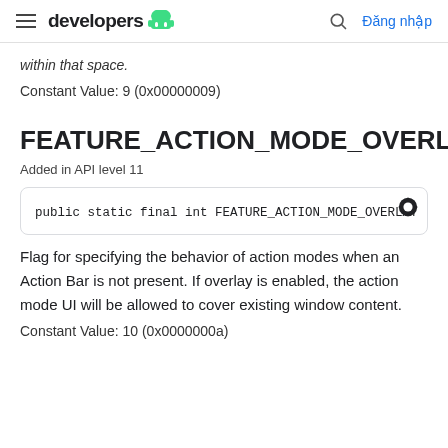developers  [Android logo]  [Search icon]  Đăng nhập
within that space.
Constant Value: 9 (0x00000009)
FEATURE_ACTION_MODE_OVERLAY
Added in API level 11
public static final int FEATURE_ACTION_MODE_OVERLAY
Flag for specifying the behavior of action modes when an Action Bar is not present. If overlay is enabled, the action mode UI will be allowed to cover existing window content.
Constant Value: 10 (0x0000000a)